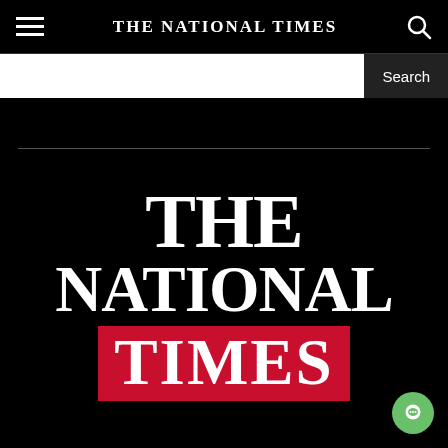THE NATIONAL TIMES
[Figure (logo): THE NATIONAL TIMES logo — white serif 'THE' and 'NATIONAL' text on black background, with 'TIMES' in white serif on a red rectangle]
[Figure (other): Green circular chat/messaging button in bottom-right corner]